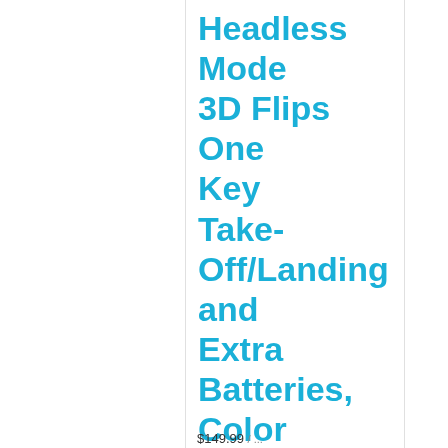Headless Mode 3D Flips One Key Take-Off/Landing and Extra Batteries, Color Red
$149.99 / ...